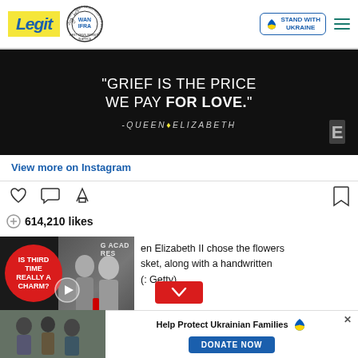Legit — WAN IFRA 2021 Best News Website in Africa — Stand With Ukraine
[Figure (screenshot): Black background image with white text quote: '"GRIEF IS THE PRICE WE PAY FOR LOVE."' attributed to -QUEEN ELIZABETH, with E! logo in bottom right corner]
View more on Instagram
[Figure (infographic): Instagram action icons: heart, comment bubble, share arrow on left; bookmark on right]
614,210 likes
[Figure (screenshot): Video advertisement overlay showing red bubble with text 'IS THIRD TIME REALLY A CHARM?' with play button, and photo of two people on right side]
en Elizabeth II chose the flowers sket, along with a handwritten (: Getty)
[Figure (infographic): Red down-arrow chevron button]
[Figure (photo): Bottom left photo thumbnail of people outdoors]
[Figure (infographic): Help Protect Ukrainian Families donate banner with Ukraine heart logo and DONATE NOW button]